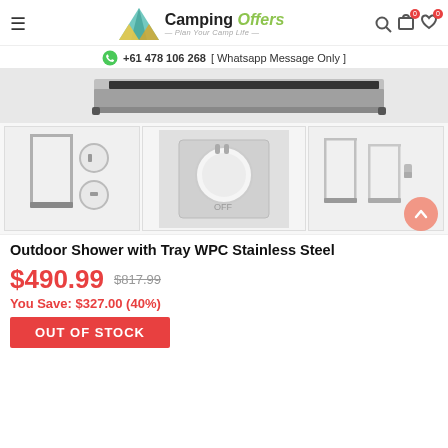Camping Offers - Plan Your Camp Life
+61 478 106 268 [ Whatsapp Message Only ]
[Figure (photo): Product images of outdoor shower with tray - main top image showing tray, plus three thumbnail images showing shower frames and dial control]
Outdoor Shower with Tray WPC Stainless Steel
$490.99  $817.99
You Save: $327.00 (40%)
OUT OF STOCK